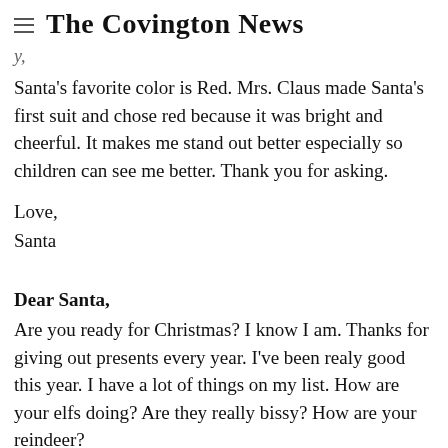The Covington News
Santa's favorite color is Red. Mrs. Claus made Santa's first suit and chose red because it was bright and cheerful. It makes me stand out better especially so children can see me better. Thank you for asking.
Love,
Santa
Dear Santa,
Are you ready for Christmas? I know I am. Thanks for giving out presents every year. I’ve been realy good this year. I have a lot of things on my list. How are your elfs doing? Are they really bissy? How are your reindeer?
Your friend